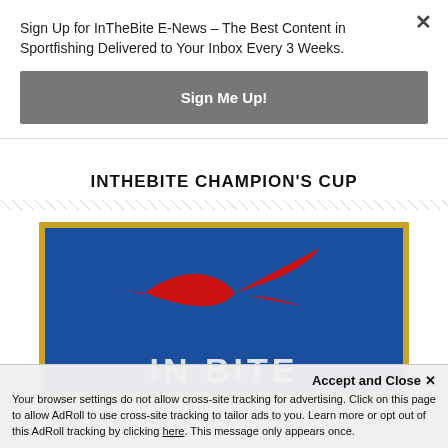Sign Up for InTheBite E-News – The Best Content in Sportfishing Delivered to Your Inbox Every 3 Weeks.
Sign Me Up!
INTHEBITE CHAMPION'S CUP
[Figure (logo): InTheBite logo on blue background with gold border, featuring a red marlin/swordfish silhouette and large white block letters partially visible at bottom.]
Accept and Close ✕
Your browser settings do not allow cross-site tracking for advertising. Click on this page to allow AdRoll to use cross-site tracking to tailor ads to you. Learn more or opt out of this AdRoll tracking by clicking here. This message only appears once.